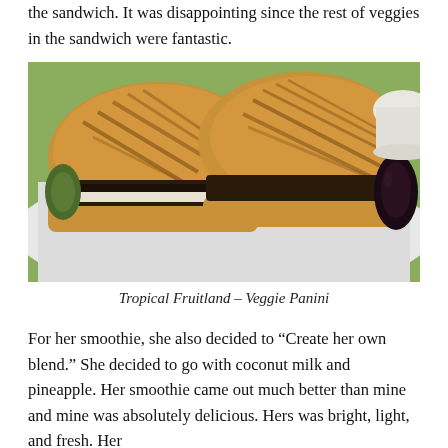the sandwich.  It was disappointing since the rest of veggies in the sandwich were fantastic.
[Figure (photo): Photo of a grilled veggie panini sandwich cut in half on a white plate, with green background]
Tropical Fruitland – Veggie Panini
For her smoothie, she also decided to “Create her own blend.”  She decided to go with coconut milk and pineapple.  Her smoothie came out much better than mine and mine was absolutely delicious.  Hers was bright, light, and fresh.  Her